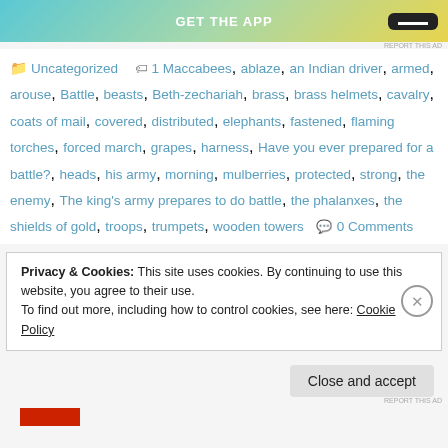[Figure (screenshot): App download advertisement banner with gradient background (teal to yellow), text GET THE APP and dark download button]
REPORT THIS AD
Uncategorized   1 Maccabees, ablaze, an Indian driver, armed, arouse, Battle, beasts, Beth-zechariah, brass, brass helmets, cavalry, coats of mail, covered, distributed, elephants, fastened, flaming torches, forced march, grapes, harness, Have you ever prepared for a battle?, heads, his army, morning, mulberries, protected, strong, the enemy, The king's army prepares to do battle, the phalanxes, the shields of gold, troops, trumpets, wooden towers   0 Comments
Privacy & Cookies: This site uses cookies. By continuing to use this website, you agree to their use.
To find out more, including how to control cookies, see here: Cookie Policy